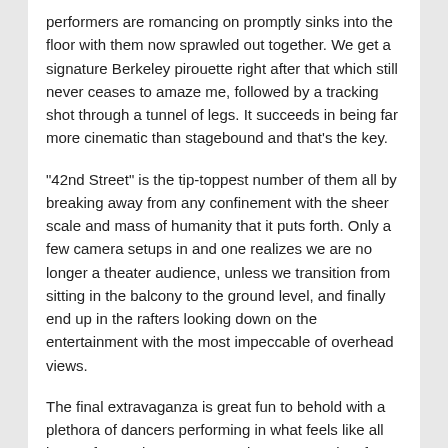performers are romancing on promptly sinks into the floor with them now sprawled out together. We get a signature Berkeley pirouette right after that which still never ceases to amaze me, followed by a tracking shot through a tunnel of legs. It succeeds in being far more cinematic than stagebound and that's the key.
“42nd Street” is the tip-toppest number of them all by breaking away from any confinement with the sheer scale and mass of humanity that it puts forth. Only a few camera setups in and one realizes we are no longer a theater audience, unless we transition from sitting in the balcony to the ground level, and finally end up in the rafters looking down on the entertainment with the most impeccable of overhead views.
The final extravaganza is great fun to behold with a plethora of dancers performing in what feels like all but perfect cadence, constructing a cutout city of their own by turning around in unison. Then, they pull away and the camera gives us this wonderfully curious illusion that we